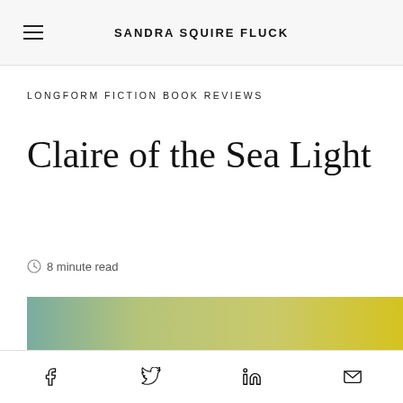SANDRA SQUIRE FLUCK
LONGFORM FICTION BOOK REVIEWS
Claire of the Sea Light
8 minute read
[Figure (photo): Book cover image strip showing a gradient from teal/green on the left to yellow on the right, with partially visible text at the bottom edge]
Social share icons: Facebook, Twitter, LinkedIn, Email